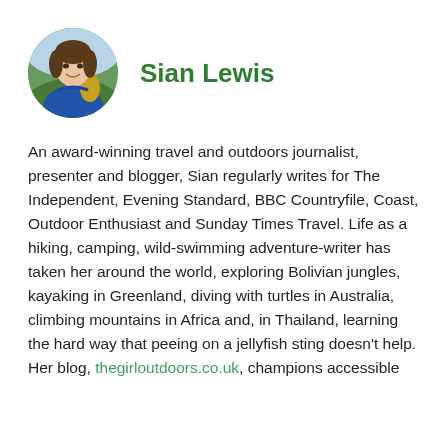[Figure (photo): Circular portrait photo of Sian Lewis, a woman wearing a blue jacket with a yellow backpack, outdoors in a green hillside setting.]
Sian Lewis
An award-winning travel and outdoors journalist, presenter and blogger, Sian regularly writes for The Independent, Evening Standard, BBC Countryfile, Coast, Outdoor Enthusiast and Sunday Times Travel. Life as a hiking, camping, wild-swimming adventure-writer has taken her around the world, exploring Bolivian jungles, kayaking in Greenland, diving with turtles in Australia, climbing mountains in Africa and, in Thailand, learning the hard way that peeing on a jellyfish sting doesn’t help. Her blog, thegirloutdoors.co.uk, champions accessible